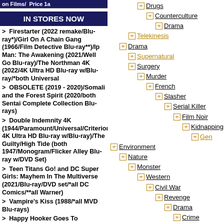on Films/ Price 1a
IN STORES NOW
> Firestarter (2022 remake/Blu-ray*)/Girl On A Chain Gang (1966/Film Detective Blu-ray**)/Ip Man: The Awakening (2021/Well Go Blu-ray)/The Northman 4K (2022/4K Ultra HD Blu-ray w/Blu-ray/*both Universal
> OBSOLETE (2019 - 2020)/Somali and the Forest Spirit (2020/both Sentai Complete Collection Blu-rays)
> Double Indemnity 4K (1944/Paramount/Universal/Criterion 4K Ultra HD Blu-ray w/Blu-ray)/The Guilty/High Tide (both 1947/Monogram/Flicker Alley Blu-ray w/DVD Set)
> Teen Titans Go! and DC Super Girls: Mayhem In The Multiverse (2021/Blu-ray/DVD set/*all DC Comics/**all Warner)
> Vampire's Kiss (1988/*all MVD Blu-rays)
> Happy Hooker Goes To Hollywood (1980/Cannon/Scorpion/Blu-ray*)/Sex and Zen (2010/Umbrella Region Free Import Blu-ray)/Tokyo Decadence (1991/Unearthed Blu-ray*)/Wild Things 4K (1998/Sony/Arrow 4K Ultra
> Cecilia (1982/Blue Underground Blu-ray)/The Debut (1977/Cult Epics Blu-ray)/Mathieu's Sun...
Drugs
Counterculture
Drama
Telekinesis
Drama
Supernatural
Surgery
Murder
French
Slasher
Serial Killer
Film Noir
Kidnapping
Gen
Environment
Nature
Monster
Western
Civil War
Revenge
Drama
Crime
Immigrant
Supernatural
Surrealism
Mystery